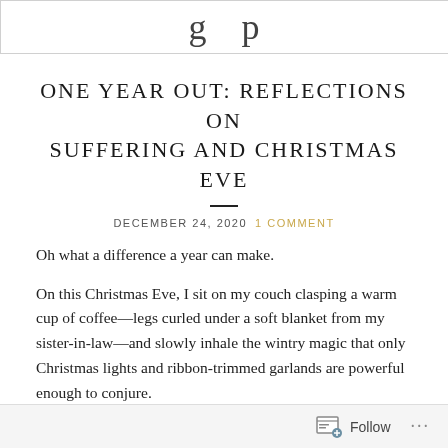[Figure (other): Partial image showing cropped text at top of page, partially visible letters]
ONE YEAR OUT: REFLECTIONS ON SUFFERING AND CHRISTMAS EVE
DECEMBER 24, 2020   1 COMMENT
Oh what a difference a year can make.
On this Christmas Eve, I sit on my couch clasping a warm cup of coffee—legs curled under a soft blanket from my sister-in-law—and slowly inhale the wintry magic that only Christmas lights and ribbon-trimmed garlands are powerful enough to conjure.
Silence.
Follow ...